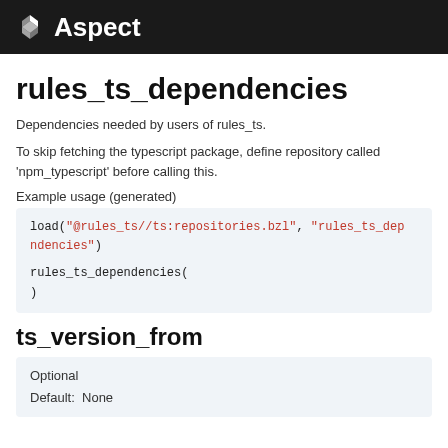Aspect
rules_ts_dependencies
Dependencies needed by users of rules_ts.
To skip fetching the typescript package, define repository called 'npm_typescript' before calling this.
Example usage (generated)
[Figure (screenshot): Code block showing: load("@rules_ts//ts:repositories.bzl", "rules_ts_dependencies")  rules_ts_dependencies( )]
ts_version_from
| Optional |
| Default:  None |